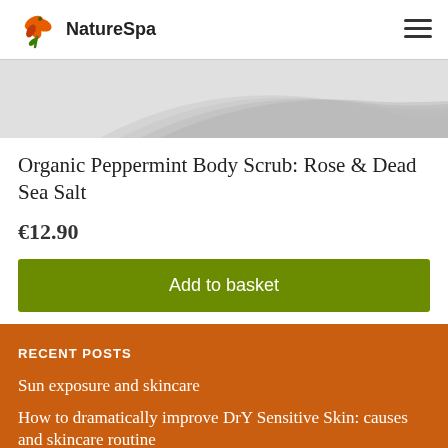NatureSpa
[Figure (illustration): Abstract curved gray wave shape on light gray background]
Organic Peppermint Body Scrub: Rose & Dead Sea Salt
€12.90
Add to basket
RECENT POSTS
Sun exposure and skincare
How to dramatically improve DrY Sensitive Skin: causes and skincare routine